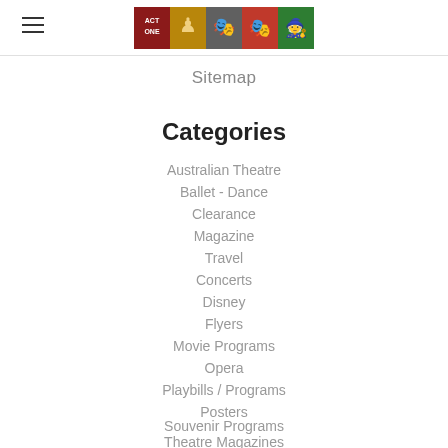ACT ONE [logo strip with theatre show images]
Sitemap
Categories
Australian Theatre
Ballet - Dance
Clearance
Magazine
Travel
Concerts
Disney
Flyers
Movie Programs
Opera
Playbills / Programs
Posters
Souvenir Programs
Theatre Magazines